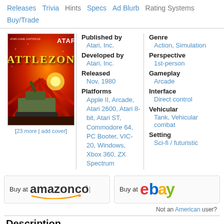Releases  Trivia  Hints  Specs  Ad Blurb  Rating Systems  Buy/Trade
[Figure (photo): Atari Battlezone game cover art showing a tank in a red/orange battlefield scene with 'BATTLEZONE' title in yellow]
[23 more | add cover]
| Published by | Atari, Inc. | Genre | Action, Simulation |
| Developed by | Atari, Inc. | Perspective | 1st-person |
| Released | Nov, 1980 | Gameplay | Arcade |
| Platforms | Apple II, Arcade, Atari 2600, Atari 8-bit, Atari ST, Commodore 64, PC Booter, VIC-20, Windows, Xbox 360, ZX Spectrum | Interface | Direct control |
|  |  | Vehicular | Tank, Vehicular combat |
|  |  | Setting | Sci-fi / futuristic |
[Figure (logo): Buy at amazon.com button with smile logo]
[Figure (logo): Buy at eBay button with colorful ebay logo]
Not an American user?
Description
Commonly considered the earliest progenitor of first-person shooters (FPS)